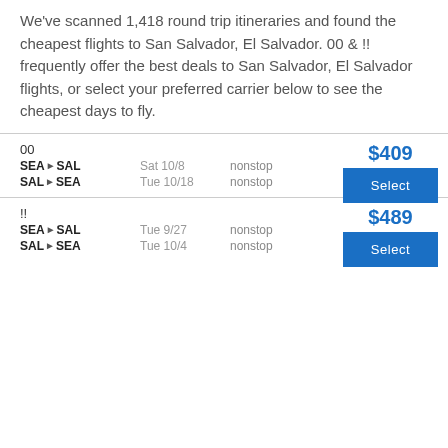We've scanned 1,418 round trip itineraries and found the cheapest flights to San Salvador, El Salvador. 00 & !! frequently offer the best deals to San Salvador, El Salvador flights, or select your preferred carrier below to see the cheapest days to fly.
00
SEA▶SAL  Sat 10/8  nonstop
SAL▶SEA  Tue 10/18  nonstop
$409
Select
!!
SEA▶SAL  Tue 9/27  nonstop
SAL▶SEA  Tue 10/4  nonstop
$489
Select